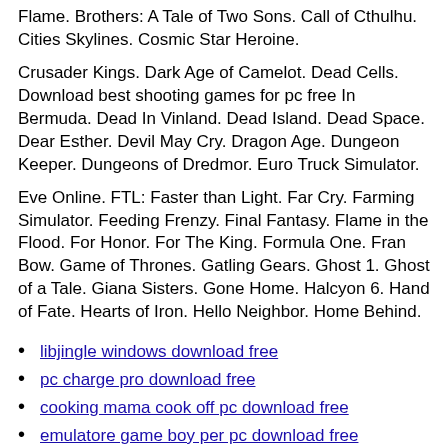Flame. Brothers: A Tale of Two Sons. Call of Cthulhu. Cities Skylines. Cosmic Star Heroine.
Crusader Kings. Dark Age of Camelot. Dead Cells. Download best shooting games for pc free In Bermuda. Dead In Vinland. Dead Island. Dead Space. Dear Esther. Devil May Cry. Dragon Age. Dungeon Keeper. Dungeons of Dredmor. Euro Truck Simulator.
Eve Online. FTL: Faster than Light. Far Cry. Farming Simulator. Feeding Frenzy. Final Fantasy. Flame in the Flood. For Honor. For The King. Formula One. Fran Bow. Game of Thrones. Gatling Gears. Ghost 1. Ghost of a Tale. Giana Sisters. Gone Home. Halcyon 6. Hand of Fate. Hearts of Iron. Hello Neighbor. Home Behind.
libjingle windows download free
pc charge pro download free
cooking mama cook off pc download free
emulatore game boy per pc download free
wintv conexant fusion 878a driver download free
thinkvantage power manager windows 8 download free